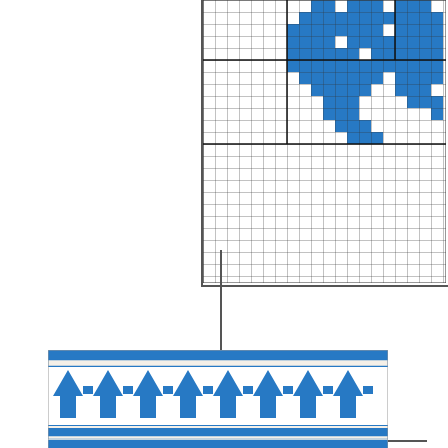[Figure (other): Partial knitting chart grid showing blue and white pixel pattern (Norwegian/Fair Isle style) on a grid with black lines — upper right portion visible]
[Figure (other): Horizontal knitting border band showing repeating blue and white arrow/chevron motif pattern on a beige/white background]
Categories: Yarn , Technique , Patterns , Knitting , General | Tags: mittens, custom, selbuvotter, norwegian, knit picks, palette, black and white, fish motif, dog motif | Permalink
Next posts 1 2 … 7 8 9 10 11 12 13 14 15 … 21 22 posts